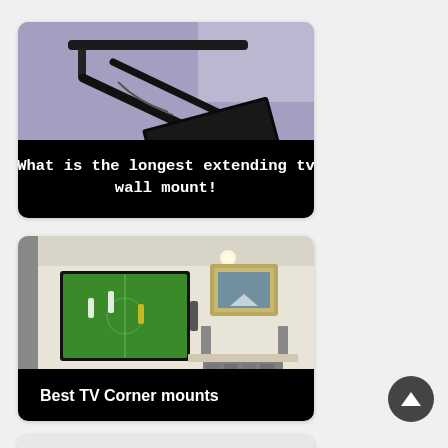[Figure (photo): Close-up photo of a black TV ceiling/wall mount arm mechanism being installed, with lavender/purple fabric visible in background]
What is the longest extending tv wall mount!
[Figure (photo): Living room with a large flat-screen TV mounted on wall showing a soccer/football match, with a framed painting and fireplace visible]
Best TV Corner mounts